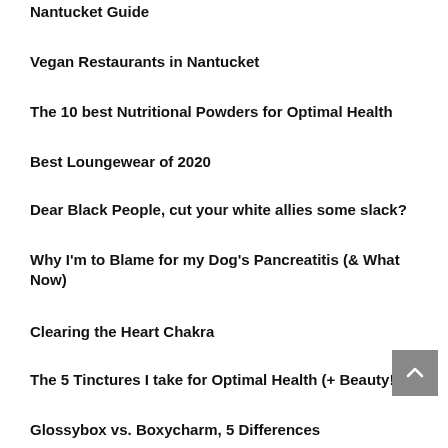Nantucket Guide
Vegan Restaurants in Nantucket
The 10 best Nutritional Powders for Optimal Health
Best Loungewear of 2020
Dear Black People, cut your white allies some slack?
Why I'm to Blame for my Dog's Pancreatitis (& What Now)
Clearing the Heart Chakra
The 5 Tinctures I take for Optimal Health (+ Beauty!)
Glossybox vs. Boxycharm, 5 Differences